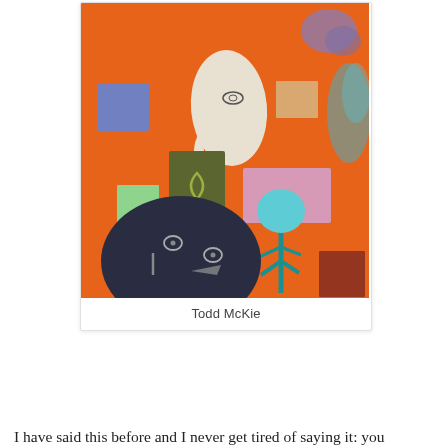[Figure (illustration): Abstract painting by Todd McKie featuring an orange background with various colorful shapes: a white fish-like face form, a blue-gray rounded face shape with drawn eyes and mouth marks, a dark olive green rectangular form with interlocking circle pattern, a cyan/teal flower on a teal stem, a pink rectangle, a small blue-purple rectangle, a small peach/tan rectangle, a red-brown rectangle, a small mint green square, and a purple-blue smudge in the upper right corner.]
Todd McKie
I have said this before and I never get tired of saying it: you